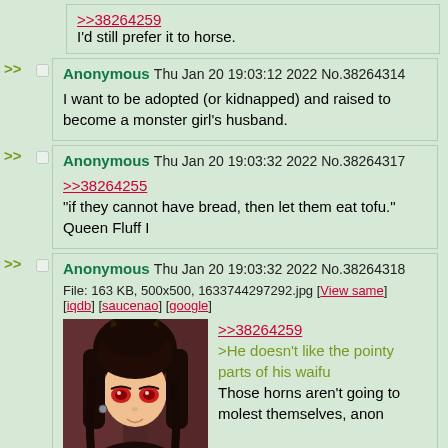>>38264259
I'd still prefer it to horse.
Anonymous Thu Jan 20 19:03:12 2022 No.38264314
I want to be adopted (or kidnapped) and raised to become a monster girl's husband.
Anonymous Thu Jan 20 19:03:32 2022 No.38264317
>>38264255
"if they cannot have bread, then let them eat tofu." Queen Fluff I
Anonymous Thu Jan 20 19:03:32 2022 No.38264318
File: 163 KB, 500x500, 1633744297292.jpg [View same] [iqdb] [saucenao] [google]
>>38264259
>He doesn't like the pointy parts of his waifu
Those horns aren't going to molest themselves, anon
[Figure (illustration): Anime-style illustration of a dark-haired girl with horns and red eyes]